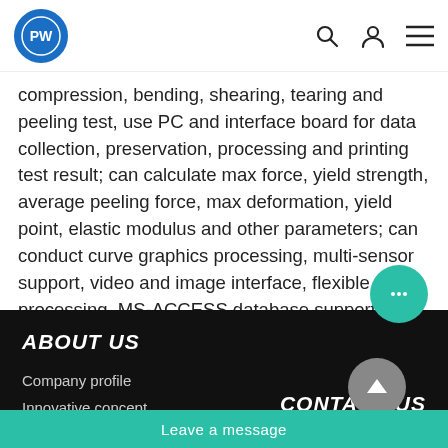PW logo with navigation icons
compression, bending, shearing, tearing and peeling test, use PC and interface board for data collection, preservation, processing and printing test result; can calculate max force, yield strength, average peeling force, max deformation, yield point, elastic modulus and other parameters; can conduct curve graphics processing, multi-sensor support, video and image interface, flexible data processing, MS-ACCESS database support, making more powerful function of system.
ABOUT US | Company profile | Innovative concept | CONTACT US | Contact Us | Leave a message